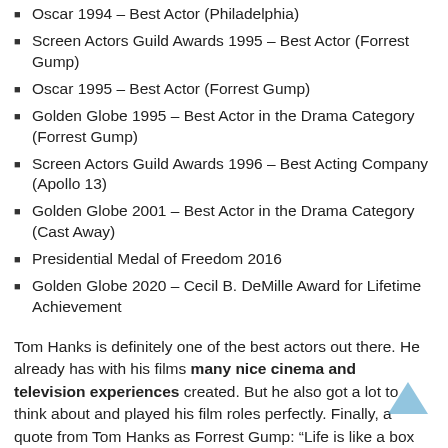Oscar 1994 – Best Actor (Philadelphia)
Screen Actors Guild Awards 1995 – Best Actor (Forrest Gump)
Oscar 1995 – Best Actor (Forrest Gump)
Golden Globe 1995 – Best Actor in the Drama Category (Forrest Gump)
Screen Actors Guild Awards 1996 – Best Acting Company (Apollo 13)
Golden Globe 2001 – Best Actor in the Drama Category (Cast Away)
Presidential Medal of Freedom 2016
Golden Globe 2020 – Cecil B. DeMille Award for Lifetime Achievement
Tom Hanks is definitely one of the best actors out there. He already has with his films many nice cinema and television experiences created. But he also got a lot to think about and played his film roles perfectly. Finally, a quote from Tom Hanks as Forrest Gump: “Life is like a box of chocolates, you